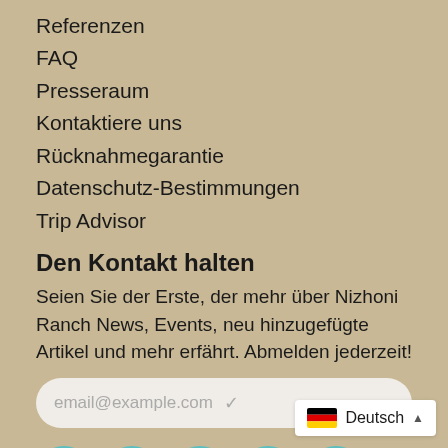Referenzen
FAQ
Presseraum
Kontaktiere uns
Rücknahmegarantie
Datenschutz-Bestimmungen
Trip Advisor
Den Kontakt halten
Seien Sie der Erste, der mehr über Nizhoni Ranch News, Events, neu hinzugefügte Artikel und mehr erfährt. Abmelden jederzeit!
email@example.com
[Figure (other): Social media icons: Facebook, Pinterest, Instagram, YouTube, Vimeo — circular teal outline buttons]
Deutsch